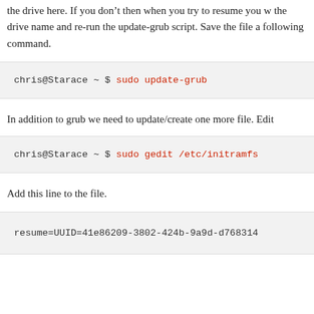the drive here. If you don't then when you try to resume you will need to edit the drive name and re-run the update-grub script. Save the file and then run the following command.
chris@Starace ~ $ sudo update-grub
In addition to grub we need to update/create one more file. Edit
chris@Starace ~ $ sudo gedit /etc/initramfs
Add this line to the file.
resume=UUID=41e86209-3802-424b-9a9d-d768314